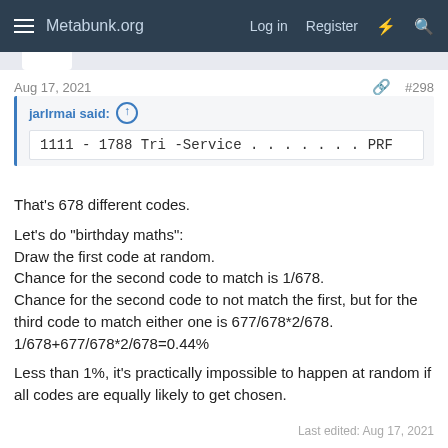Metabunk.org  Log in  Register
Aug 17, 2021  #298
jarlrmai said: ↑
1111 - 1788 Tri -Service . . . . . . . PRF
That's 678 different codes.

Let's do "birthday maths":
Draw the first code at random.
Chance for the second code to match is 1/678.
Chance for the second code to not match the first, but for the third code to match either one is 677/678*2/678.
1/678+677/678*2/678=0.44%

Less than 1%, it's practically impossible to happen at random if all codes are equally likely to get chosen.
Last edited: Aug 17, 2021